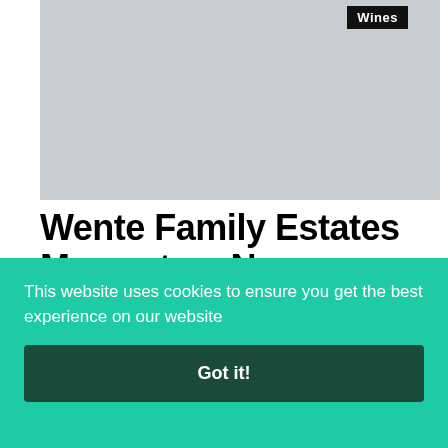[Figure (photo): Gray placeholder image at the top of the article]
Wines
Wente Family Estates Moves to a New Warehouse to Support Consecutive Years of
This website uses cookies to ensure you get the best experience on our website
Got it!